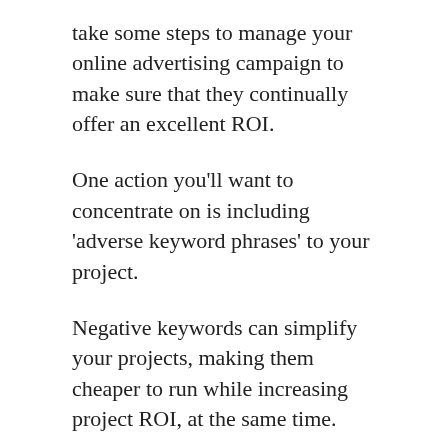take some steps to manage your online advertising campaign to make sure that they continually offer an excellent ROI.
One action you'll want to concentrate on is including 'adverse keyword phrases' to your project.
Negative keywords can simplify your projects, making them cheaper to run while increasing project ROI, at the same time.
When you choose adverse key words, you're making certain that certain keywords will not activate the screen of your ads.
If you know your sector well, you might be able to come up with some unfavorable keyword